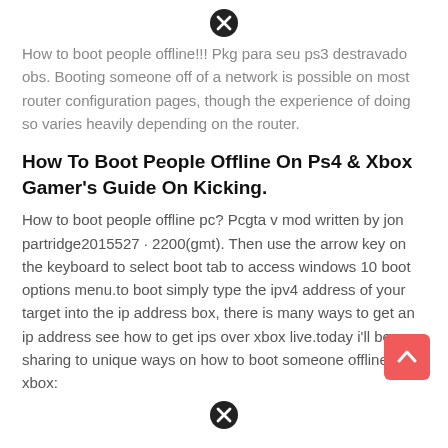[Figure (other): Close (X) button icon at top center of page]
How to boot people offline!!! Pkg para seu ps3 destravado obs. Booting someone off of a network is possible on most router configuration pages, though the experience of doing so varies heavily depending on the router.
How To Boot People Offline On Ps4 & Xbox Gamer's Guide On Kicking.
How to boot people offline pc? Pc​gta v​​​​​​​​​​​​ mod​​​​ written by jon partridge​​​​​2015​5​27​ · 22​00​(gmt). Then use the arrow key on the keyboard to select boot tab to access windows 10 boot options menu.to boot simply type the ipv4 address of your target into the ip address box, there is many ways to get an ip address see how to get ips over xbox live.today i'll be sharing to unique ways on how to boot someone offline on xbox:
[Figure (other): Close (X) button icon at bottom center of page]
[Figure (other): Red scroll-to-top arrow button at bottom right]